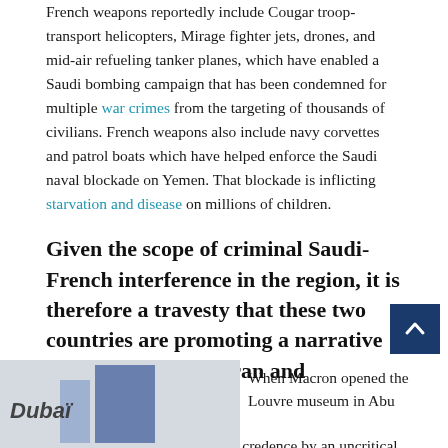French weapons reportedly include Cougar troop-transport helicopters, Mirage fighter jets, drones, and mid-air refueling tanker planes, which have enabled a Saudi bombing campaign that has been condemned for multiple war crimes from the targeting of thousands of civilians. French weapons also include navy corvettes and patrol boats which have helped enforce the Saudi naval blockade on Yemen. That blockade is inflicting starvation and disease on millions of children.
Given the scope of criminal Saudi-French interference in the region, it is therefore a travesty that these two countries are promoting a narrative seeking to impugn Iran and Hezbollah.
But this travesty is being given credence by an uncritical Western media, and by French President Macron donning an image of a progressive, liberal, cultured politician.
When Macron opened the Louvre museum in Abu
[Figure (photo): Partial image showing a Dubaï sign/exhibit, partially cropped at bottom of page]